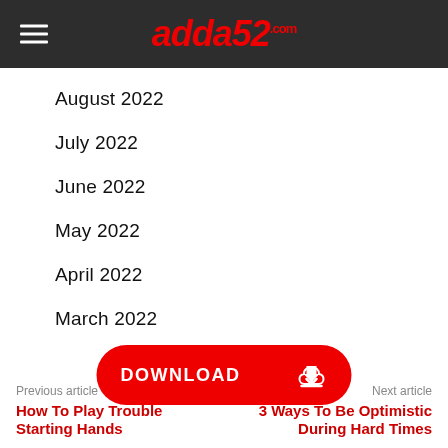adda52.com
August 2022
July 2022
June 2022
May 2022
April 2022
March 2022
[Figure (other): Red rounded DOWNLOAD button with cloud download icon]
Previous article
How To Play Trouble Starting Hands
Next article
3 Ways To Be Optimistic During Hard Times